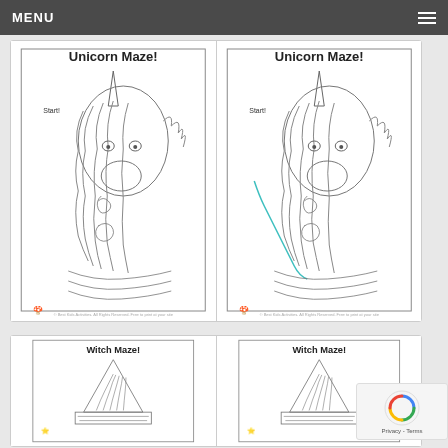MENU
[Figure (illustration): Unicorn Maze worksheet thumbnail - black and white line art of unicorn head with maze paths, titled 'Unicorn Maze!']
[Figure (illustration): Unicorn Classroom Activity Worksheet KEY thumbnail - same unicorn maze with answer key overlay]
Unicorn Maze Activity Worksheet for Kids
Unicorn Classroom Activity Worksheet – KEY
[Figure (illustration): Witch Maze worksheet thumbnail - black and white line art of witch hat with maze paths, titled 'Witch Maze!']
[Figure (illustration): Witch Maze second thumbnail - same witch maze worksheet]
[Figure (other): Google reCAPTCHA badge with spinning logo and Privacy - Terms text]